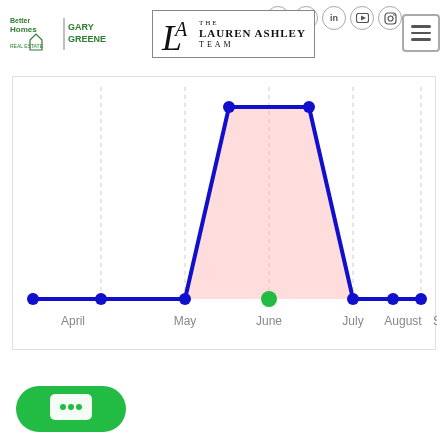[Figure (logo): Better Homes and Gardens Real Estate | Gary Greene logo (green text)]
[Figure (logo): The Lauren Ashley Team logo — LA monogram in box with serif text]
[Figure (other): Social media icons: login arrow, email, Facebook, Twitter, LinkedIn, YouTube, Instagram — all in circles]
[Figure (other): Hamburger menu icon (three horizontal lines in bordered box)]
[Figure (area-chart): Area/line chart showing data across months April through September with a trapezoidal pink shaded region peaking from May to June, blue line with dots, green dot at June]
[Figure (other): Green chat bubble button with ellipsis (three dots) icon at bottom left]